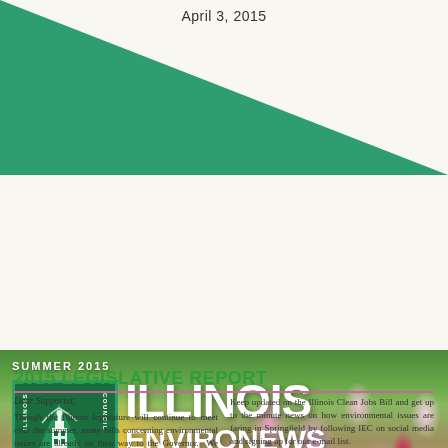April 3, 2015
[Figure (illustration): Green diagonal banner header with Illinois Environmental Council logo and flowers photo. Shows 'SUMMER 2015' label, IEC logo with capitol building illustration, and large white text reading 'ILLINOIS ENVIRONEWS' over a floral meadow background.]
2015 LEGISLATIVE REPORT
Dear Supporter,
Though the Illinois legislature will continue to meet over the summer, many bills concerning environmental issues are already on their way to the Governor. We expect to learn whether he is going to take action on them in the next few months. Overall, we are pleased with the progress made on environmental issues this session.
Keep updated on the Illinois Clean Jobs Bill and get up to the minute news on how environmental issues are faring in Springfield by following IEC on social media and signing up for our e-mail list.
Thank you for keeping up with environmental policy in